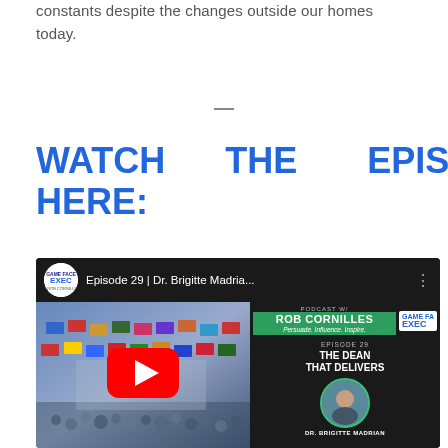constants despite the changes outside our homes today.
WATCH THE EPISODE HERE:
[Figure (screenshot): YouTube video thumbnail for 'Episode 29 | Dr. Brigitte Madria...' from Game Face Execs podcast with Rob Cornilles. Left side shows a conference hall with international flags and a crowd. Right side shows episode info: 'EPISODE 29 THE DEAN THAT DELIVERS' with a circular photo of Dr. Brigitte Madrian. Red YouTube play button overlay in center.]